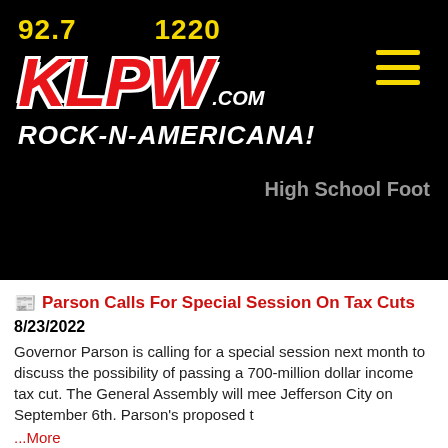[Figure (logo): KLPW radio station logo with frequencies 92.7 and 1220, red KLPW.com text, white ROCK-N-AMERICANA! tagline on black background]
High School Foot
Parson Calls For Special Session On Tax Cuts
8/23/2022
Governor Parson is calling for a special session next month to discuss the possibility of passing a 700-million dollar income tax cut. The General Assembly will meet Jefferson City on September 6th. Parson's proposed t
...More